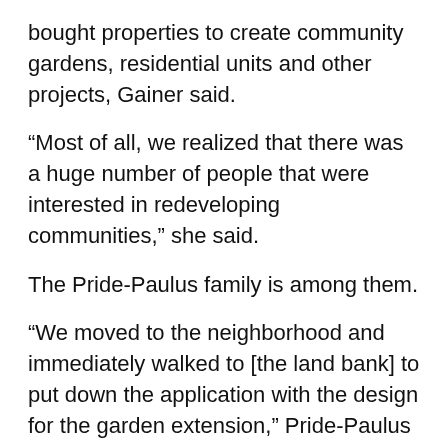bought properties to create community gardens, residential units and other projects, Gainer said.
“Most of all, we realized that there was a huge number of people that were interested in redeveloping communities,” she said.
The Pride-Paulus family is among them.
“We moved to the neighborhood and immediately walked to [the land bank] to put down the application with the design for the garden extension,” Pride-Paulus said.
Their community garden, which will open in the spring at 440 E. 46th St., is an extension of a larger community garden that was built in 2011